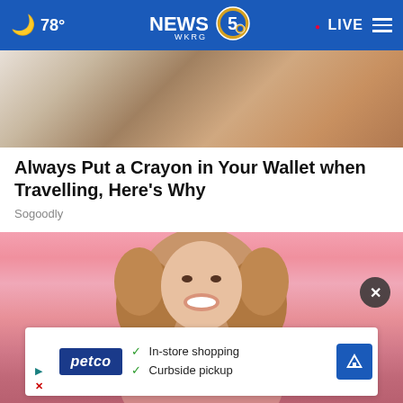🌙 78° | NEWS 5 WKRG | • LIVE ≡
[Figure (photo): Top portion of a photo showing what appears to be crayons and a wallet on a surface]
Always Put a Crayon in Your Wallet when Travelling, Here's Why
Sogoodly
[Figure (photo): Smiling young woman with curly hair holding credit cards against a pink background]
[Figure (other): Petco advertisement banner: checkmarks for In-store shopping and Curbside pickup, with navigation arrow icon]